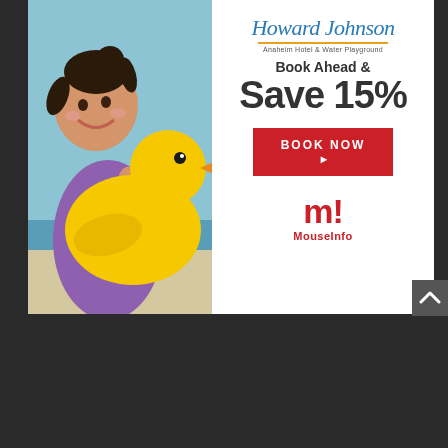[Figure (photo): Advertisement banner for Howard Johnson Anaheim Hotel & Water Playground. Left side: photo of a young girl in a purple swimsuit hugging a large yellow rubber duck toy at a water park. Right side: white background with hotel branding, 'Book Ahead & Save 15%' text, a red 'BOOK NOW' button, and the MouseInfo logo (red m! with 'MouseInfo' text below).]